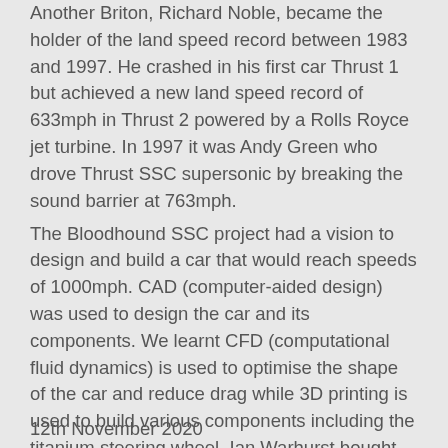Another Briton, Richard Noble, became the holder of the land speed record between 1983 and 1997. He crashed in his first car Thrust 1 but achieved a new land speed record of 633mph in Thrust 2 powered by a Rolls Royce jet turbine. In 1997 it was Andy Green who drove Thrust SSC supersonic by breaking the sound barrier at 763mph.
The Bloodhound SSC project had a vision to design and build a car that would reach speeds of 1000mph. CAD (computer-aided design) was used to design the car and its components. We learnt CFD (computational fluid dynamics) is used to optimise the shape of the car and reduce drag while 3D printing is used to build various components including the titanium steering wheel. Ian Warhurst bought Bloodhound SSC and the IPR in 2019 and the car in its new livery reached 628mph on a new track in South Africa. It is hoped that in the next few years, with the appropriate funding, that the team will return to South Africa for an attempt to reach the car's design speed of 1000mph. Just don't blink or you'll miss it.    Charles Emes
12th November 2020